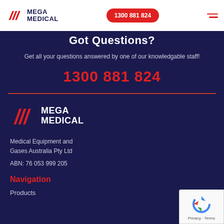MEGA MEDICAL | 1300 881 824
Got Questions?
Get all your questions answered by one of our knowledgable staff!
1300 881 824
[Figure (logo): Mega Medical logo with red chevron/slashes icon and white MEGA MEDICAL text in navy footer]
Medical Equipment and Gases Australia Pty Ltd
ABN: 76 053 999 205
Navigation
Products
[Figure (logo): Google reCAPTCHA badge with spinning arrow logo and Privacy - Terms text]